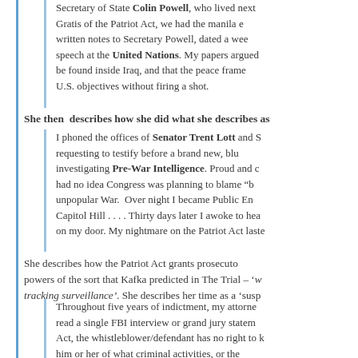Secretary of State Colin Powell, who lived next [to]... Gratis of the Patriot Act, we had the manila e[nvelope]... written notes to Secretary Powell, dated a wee[k before his]... speech at the United Nations. My papers argue[d WMDs would not]... be found inside Iraq, and that the peace frame[work could achieve]... U.S. objectives without firing a shot.
She then describes how she did what she describes as [...]
I phoned the offices of Senator Trent Lott and S[...]... requesting to testify before a brand new, blu[...]... investigating Pre-War Intelligence. Proud and c[...]... had no idea Congress was planning to blame "b[...]"... unpopular War. Over night I became Public En[emy on]... Capitol Hill . . . . Thirty days later I awoke to hea[r knocking]... on my door. My nightmare on the Patriot Act laste[d...]
She describes how the Patriot Act grants prosecuto[rial]... powers of the sort that Kafka predicted in The Trial – 'w[ide-ranging]... tracking surveillance'. She describes her time as a 'susp[ect'...]
Throughout five years of indictment, my attorne[y could not]... read a single FBI interview or grand jury statem[ent]... Act, the whistleblower/defendant has no right to k[now]... him or her of what criminal activities, or the[...]